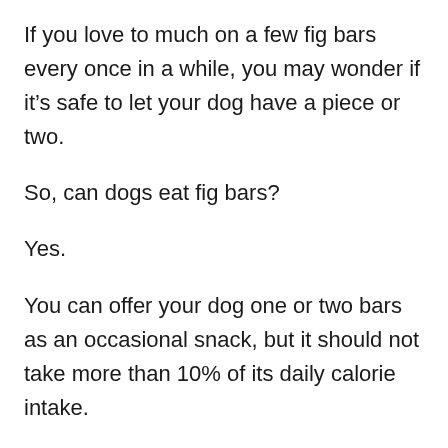If you love to much on a few fig bars every once in a while, you may wonder if it's safe to let your dog have a piece or two.
So, can dogs eat fig bars?
Yes.
You can offer your dog one or two bars as an occasional snack, but it should not take more than 10% of its daily calorie intake.
However, the number of fig bars should depend on the size of your dog, what else they ate that day and its overall health.